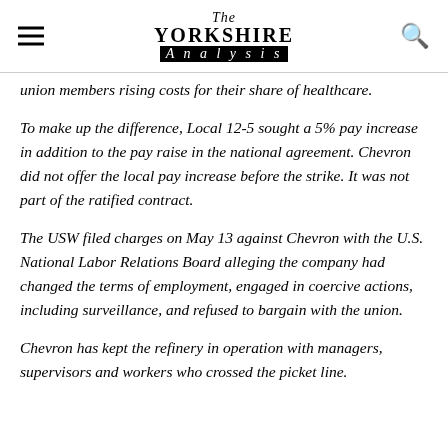The Yorkshire Analysis
union members rising costs for their share of healthcare.
To make up the difference, Local 12-5 sought a 5% pay increase in addition to the pay raise in the national agreement. Chevron did not offer the local pay increase before the strike. It was not part of the ratified contract.
The USW filed charges on May 13 against Chevron with the U.S. National Labor Relations Board alleging the company had changed the terms of employment, engaged in coercive actions, including surveillance, and refused to bargain with the union.
Chevron has kept the refinery in operation with managers, supervisors and workers who crossed the picket line.